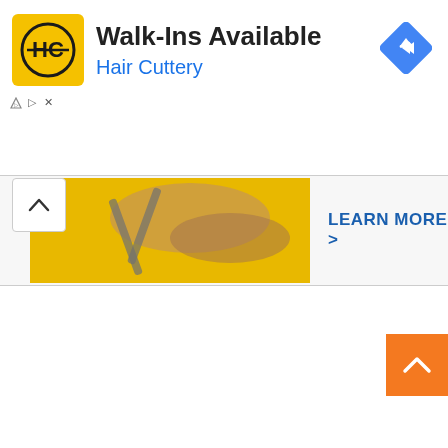[Figure (screenshot): Hair Cuttery advertisement banner with yellow logo showing HC monogram, title 'Walk-Ins Available', subtitle 'Hair Cuttery' in blue, and a blue diamond navigation icon on the right]
Walk-Ins Available
Hair Cuttery
LEARN MORE >
[Figure (screenshot): Partial image of scissors/hair cutting on yellow background, bottom portion of advertisement visible]
[Figure (screenshot): Orange scroll-to-top button with white upward chevron arrow in bottom right corner]